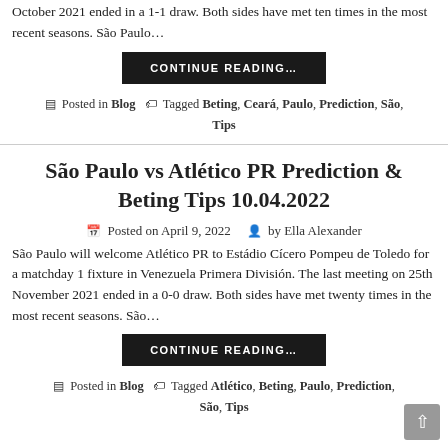October 2021 ended in a 1-1 draw. Both sides have met ten times in the most recent seasons. São Paulo…
CONTINUE READING…
Posted in Blog   Tagged Beting, Ceará, Paulo, Prediction, São, Tips
São Paulo vs Atlético PR Prediction & Beting Tips 10.04.2022
Posted on April 9, 2022   by Ella Alexander
São Paulo will welcome Atlético PR to Estádio Cícero Pompeu de Toledo for a matchday 1 fixture in Venezuela Primera División. The last meeting on 25th November 2021 ended in a 0-0 draw. Both sides have met twenty times in the most recent seasons. São…
CONTINUE READING…
Posted in Blog   Tagged Atlético, Beting, Paulo, Prediction, São, Tips